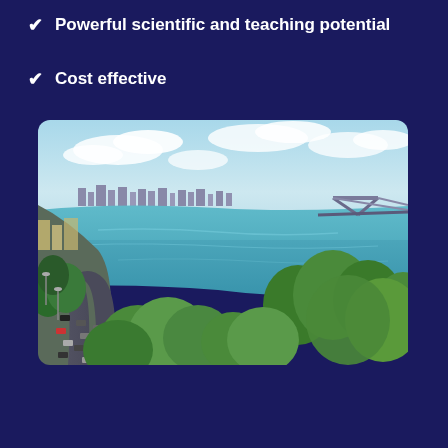Powerful scientific and teaching potential
Cost effective
[Figure (photo): Aerial view of a riverside city with a winding road alongside a river, green trees in the foreground, a bridge in the background, and city buildings on the far shore under a partly cloudy sky.]